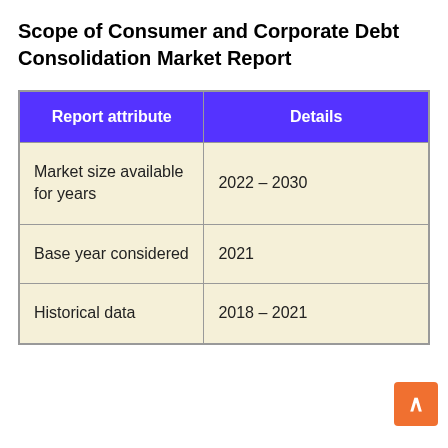Scope of Consumer and Corporate Debt Consolidation Market Report
| Report attribute | Details |
| --- | --- |
| Market size available for years | 2022 – 2030 |
| Base year considered | 2021 |
| Historical data | 2018 – 2021 |